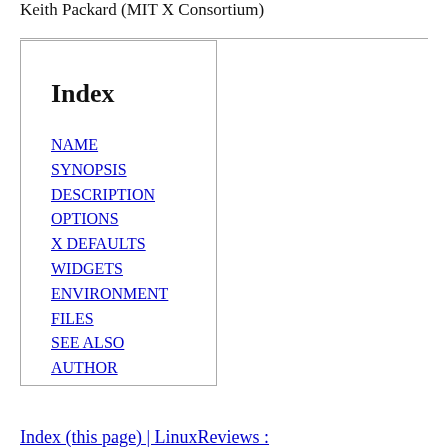Keith Packard (MIT X Consortium)
Index
NAME
SYNOPSIS
DESCRIPTION
OPTIONS
X DEFAULTS
WIDGETS
ENVIRONMENT
FILES
SEE ALSO
AUTHOR
Index (this page) | LinuxReviews :